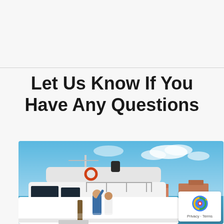Let Us Know If You Have Any Questions
[Figure (photo): Photo of a large white motor yacht docked at a marina on a sunny day with blue sky and clouds. Two people are visible on the lower deck. Resort-style buildings are visible in the background across the water.]